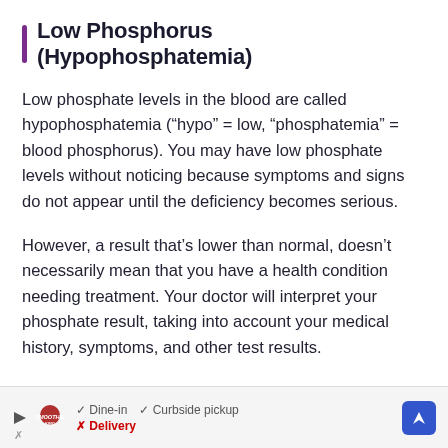Low Phosphorus (Hypophosphatemia)
Low phosphate levels in the blood are called hypophosphatemia (“hypo” = low, “phosphatemia” = blood phosphorus). You may have low phosphate levels without noticing because symptoms and signs do not appear until the deficiency becomes serious.
However, a result that’s lower than normal, doesn’t necessarily mean that you have a health condition needing treatment. Your doctor will interpret your phosphate result, taking into account your medical history, symptoms, and other test results.
[Figure (other): Advertisement banner with Smoothie King logo, checkmarks for Dine-in and Curbside pickup, X for Delivery, and a blue navigation arrow icon.]